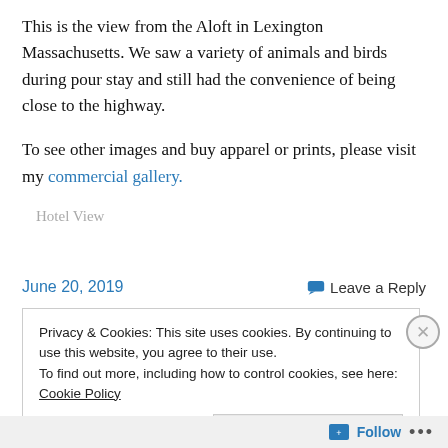This is the view from the Aloft in Lexington Massachusetts. We saw a variety of animals and birds during pour stay and still had the convenience of being close to the highway.
To see other images and buy apparel or prints, please visit my commercial gallery.
Hotel View
June 20, 2019
Leave a Reply
Privacy & Cookies: This site uses cookies. By continuing to use this website, you agree to their use.
To find out more, including how to control cookies, see here: Cookie Policy
Close and accept
Follow